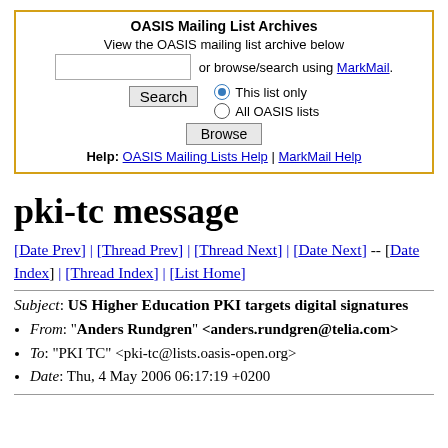[Figure (screenshot): OASIS Mailing List Archives search widget with yellow/gold border, containing title, search input, Browse button, Search button, radio buttons for 'This list only' and 'All OASIS lists', and help links.]
pki-tc message
[Date Prev] | [Thread Prev] | [Thread Next] | [Date Next] -- [Date Index] | [Thread Index] | [List Home]
Subject: US Higher Education PKI targets digital signatures
From: "Anders Rundgren" <anders.rundgren@telia.com>
To: "PKI TC" <pki-tc@lists.oasis-open.org>
Date: Thu, 4 May 2006 06:17:19 +0200